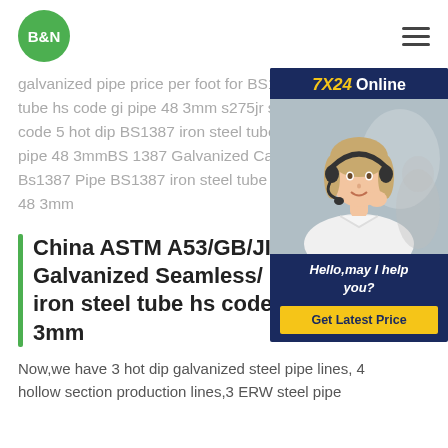B&N
galvanized pipe price per foot for BS13... tube hs code gi pipe 48 3mm s275jr sc... code 5 hot dip BS1387 iron steel tube h... pipe 48 3mmBS 1387 Galvanized Carb... Bs1387 Pipe BS1387 iron steel tube hs... 48 3mm
[Figure (other): Customer service chat widget with 7X24 Online header, photo of woman with headset, Hello may I help you text, and Get Latest Price yellow button]
China ASTM A53/GB/JIS/B... Galvanized Seamless/ ERW BS1387 iron steel tube hs code gi pipe 48 3mm
Now,we have 3 hot dip galvanized steel pipe lines, 4 hollow section production lines,3 ERW steel pipe